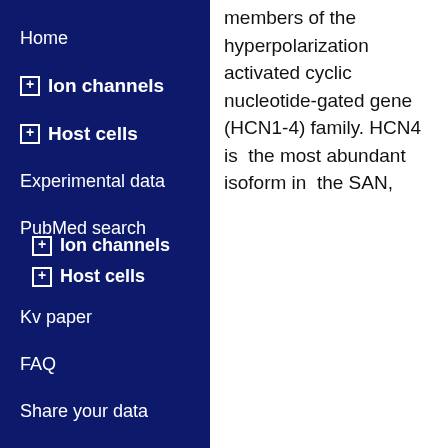Home
⊞ Ion channels
⊞ Host cells
Experimental data
PubMed search
⊞ Ion channels
⊞ Host cells
Kv paper
FAQ
Share your data
members of the hyperpolarization activated cyclic nucleotide-gated gene (HCN1-4) family. HCN4 is the most abundant isoform in the SAN,